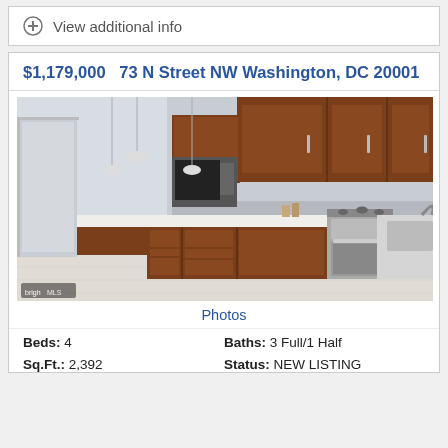⊕ View additional info
$1,179,000  73 N Street NW Washington, DC 20001
[Figure (photo): Interior photo of a modern kitchen with warm brown wood cabinetry, stainless steel appliances including oven and dishwasher, white quartz countertops, grey backsplash, and light wood-look flooring. Pendant lights hang above an island. Bright MLS watermark in bottom left corner.]
Photos
Beds: 4
Baths: 3 Full/1 Half
Sq.Ft.: 2,392
Status: NEW LISTING